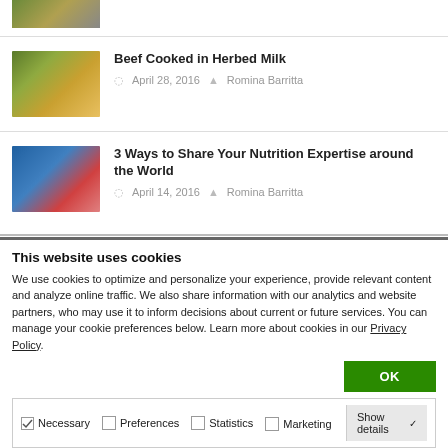[Figure (photo): Partial thumbnail image at top of page (cropped)]
Beef Cooked in Herbed Milk
April 28, 2016   Romina Barritta
3 Ways to Share Your Nutrition Expertise around the World
April 14, 2016   Romina Barritta
This website uses cookies
We use cookies to optimize and personalize your experience, provide relevant content and analyze online traffic. We also share information with our analytics and website partners, who may use it to inform decisions about current or future services. You can manage your cookie preferences below. Learn more about cookies in our Privacy Policy.
OK
Necessary   Preferences   Statistics   Marketing   Show details